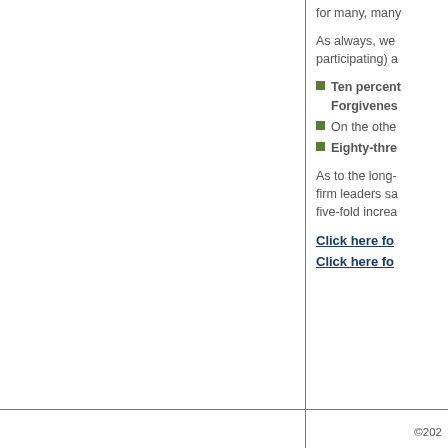for many, many
As always, we (participating) a
Ten percent Forgiveness
On the other
Eighty-three
As to the long- firm leaders sa five-fold increa
Click here fo
Click here fo
©202